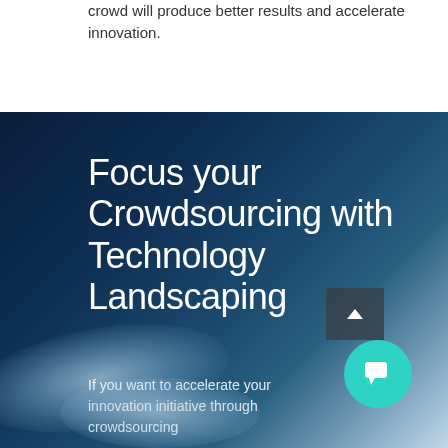crowd will produce better results and accelerate innovation.
Focus your Crowdsourcing with Technology Landscaping
If you want to accelerate your innovation initiative through crowdsourcing